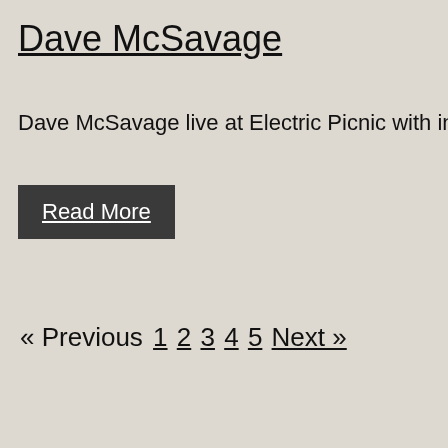Dave McSavage
Dave McSavage live at Electric Picnic with introd…
Read More
« Previous 1 2 3 4 5 Next »